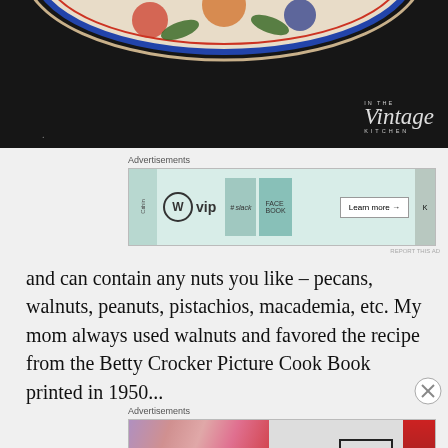[Figure (photo): Top portion of a decorative plate with floral/botanical painted design on dark background, with 'In The Vintage Kitchen' watermark in bottom right]
[Figure (other): Advertisement banner: WordPress VIP with Slack, Facebook and other app cards, Learn more button]
and can contain any nuts you like – pecans, walnuts, peanuts, pistachios, macademia, etc. My mom always used walnuts and favored the recipe from the Betty Crocker Picture Cook Book printed in 1950...
[Figure (other): Advertisement banner: MAC cosmetics with lipsticks image, MAC logo, SHOP NOW button]